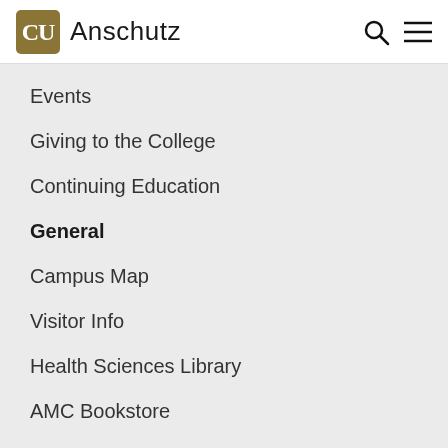CU Anschutz
Events
Giving to the College
Continuing Education
General
Campus Map
Visitor Info
Health Sciences Library
AMC Bookstore
Graduate School
Sign up for the CU Nursing eNewsletter
Subscribe